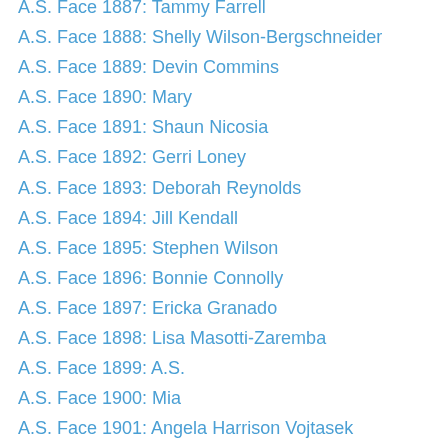A.S. Face 1887: Tammy Farrell
A.S. Face 1888: Shelly Wilson-Bergschneider
A.S. Face 1889: Devin Commins
A.S. Face 1890: Mary
A.S. Face 1891: Shaun Nicosia
A.S. Face 1892: Gerri Loney
A.S. Face 1893: Deborah Reynolds
A.S. Face 1894: Jill Kendall
A.S. Face 1895: Stephen Wilson
A.S. Face 1896: Bonnie Connolly
A.S. Face 1897: Ericka Granado
A.S. Face 1898: Lisa Masotti-Zaremba
A.S. Face 1899: A.S.
A.S. Face 1900: Mia
A.S. Face 1901: Angela Harrison Vojtasek
A.S. Face 1902: Ana Cristina
A.S. Face 1903: Matt
A.S. Face 1904: Fraser
A.S. Face 1905: Becky
A.S. Face 1906: Summer Jensen